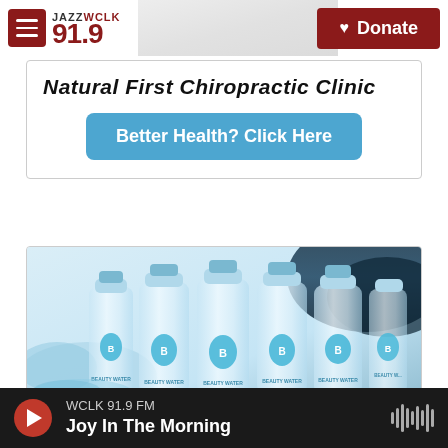JAZZ WCLK 91.9 | Donate
Natural First Chiropractic Clinic
Better Health? Click Here
[Figure (photo): Water bottles with 'Beauty Water' branding and water splash background]
WCLK 91.9 FM | Joy In The Morning